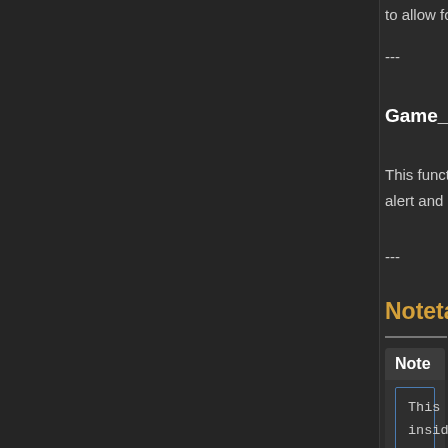to allow for the repel and lure effects to wor
---
Game_Event.updateSelfMovement
This function's original code will be ignored w
alert and return periods are over, self mover
---
Notetags
Note
This is a regular note that is often
inside the noteboxes of various data
objects.

<This is a Notetag>

Notetags are often surrounded by < a